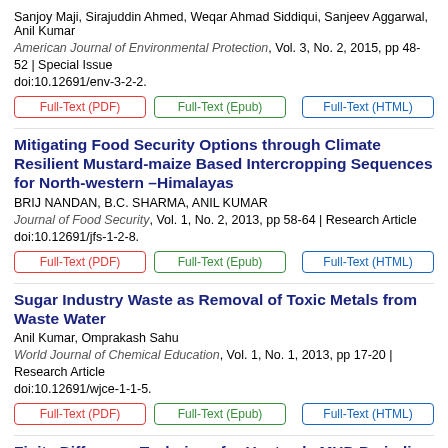Sanjoy Maji, Sirajuddin Ahmed, Weqar Ahmad Siddiqui, Sanjeev Aggarwal, Anil Kumar
American Journal of Environmental Protection, Vol. 3, No. 2, 2015, pp 48-52 | Special Issue
doi:10.12691/env-3-2-2.
Full-Text (PDF) | Full-Text (Epub) | Full-Text (HTML)
Mitigating Food Security Options through Climate Resilient Mustard-maize Based Intercropping Sequences for North-western –Himalayas
BRIJ NANDAN, B.C. SHARMA, ANIL KUMAR
Journal of Food Security, Vol. 1, No. 2, 2013, pp 58-64 | Research Article
doi:10.12691/jfs-1-2-8.
Full-Text (PDF) | Full-Text (Epub) | Full-Text (HTML)
Sugar Industry Waste as Removal of Toxic Metals from Waste Water
Anil Kumar, Omprakash Sahu
World Journal of Chemical Education, Vol. 1, No. 1, 2013, pp 17-20 | Research Article
doi:10.12691/wjce-1-1-5.
Full-Text (PDF) | Full-Text (Epub) | Full-Text (HTML)
Finite Difference Technique for Unsteady MHD Periodic Flow